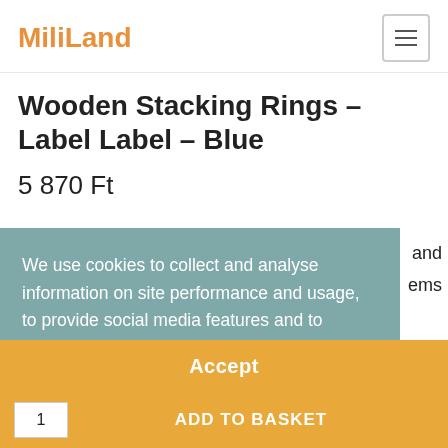MiliLand
Wooden Stacking Rings – Label Label – Blue
5 870 Ft
We use cookies to collect and analyse information on site performance and usage, to provide social media features and to enhance and customise content and advertisements. Learn more
Accept
ADD TO BASKET